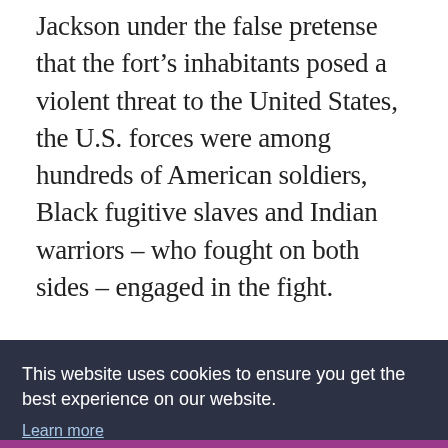Jackson under the false pretense that the fort's inhabitants posed a violent threat to the United States, the U.S. forces were among hundreds of American soldiers, Black fugitive slaves and Indian warriors – who fought on both sides – engaged in the fight.
ADVERTISEMENT
[Figure (screenshot): Purple advertisement banner with stylized text and a close (X) button in the top right corner]
This website uses cookies to ensure you get the best experience on our website. Learn more
Got it!